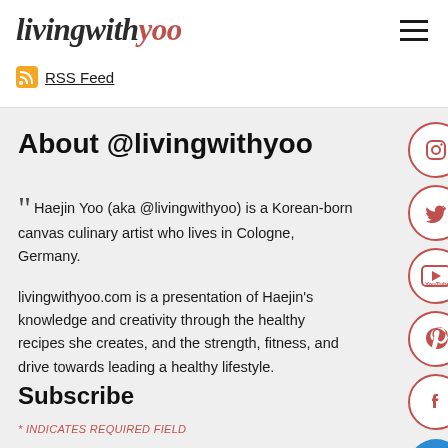livingwithyoo
RSS Feed
About @livingwithyoo
Haejin Yoo (aka @livingwithyoo) is a Korean-born canvas culinary artist who lives in Cologne, Germany.
livingwithyoo.com is a presentation of Haejin's knowledge and creativity through the healthy recipes she creates, and the strength, fitness, and drive towards leading a healthy lifestyle.
Subscribe
* INDICATES REQUIRED FIELD
[Figure (infographic): Social media icon buttons on right side: Instagram, Twitter, YouTube, Pinterest, Facebook circles with coral/red border, and a blue email circle at bottom right]